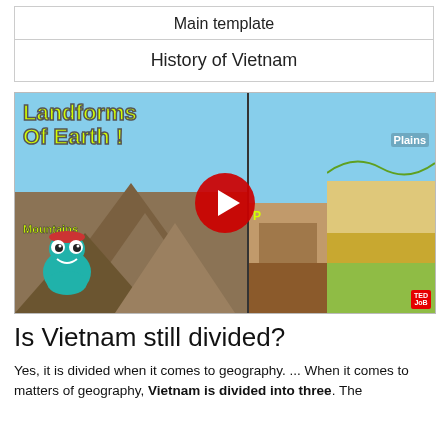Main template
History of Vietnam
[Figure (screenshot): YouTube video thumbnail for 'Landforms Of Earth!' educational cartoon video showing Mountains, Plateaus, and Plains sections with a play button overlay and animated character]
Is Vietnam still divided?
Yes, it is divided when it comes to geography. ... When it comes to matters of geography, Vietnam is divided into three. The